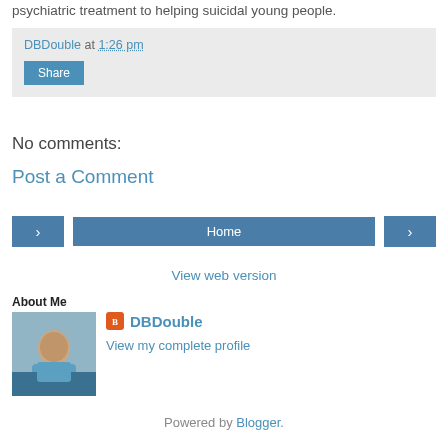psychiatric treatment to helping suicidal young people.
DBDouble at 1:26 pm
Share
No comments:
Post a Comment
< Home >
View web version
About Me
DBDouble
View my complete profile
Powered by Blogger.